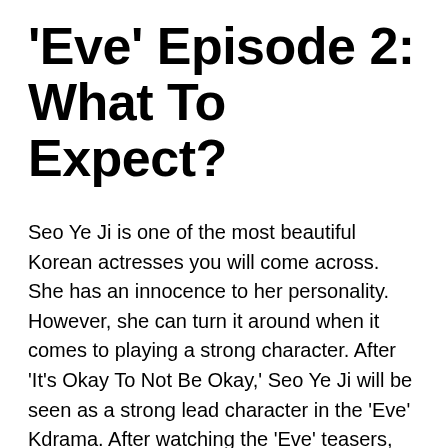'Eve' Episode 2: What To Expect?
Seo Ye Ji is one of the most beautiful Korean actresses you will come across. She has an innocence to her personality. However, she can turn it around when it comes to playing a strong character. After 'It's Okay To Not Be Okay,' Seo Ye Ji will be seen as a strong lead character in the 'Eve' Kdrama. After watching the 'Eve' teasers, we can make some assumptions about what we can expect from the drama. The main character of the drama, Lee Ra Ei, is an extremely beautiful and charming woman who can hold the attention of any man. She targets a married man for her mission. Kang Yoon Gyeom has strong feelings for her. However, because of his wife,